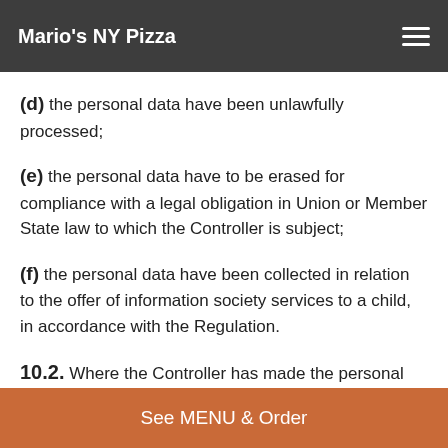Mario's NY Pizza
(d) the personal data have been unlawfully processed;
(e) the personal data have to be erased for compliance with a legal obligation in Union or Member State law to which the Controller is subject;
(f) the personal data have been collected in relation to the offer of information society services to a child, in accordance with the Regulation.
10.2. Where the Controller has made the personal data public and is obliged pursuant to paragraph 10.1 to erase the personal data, the Controller, taking account of available technology and the cost of implementation, takes reasonable measures, including technical measures, to
See MENU & Order